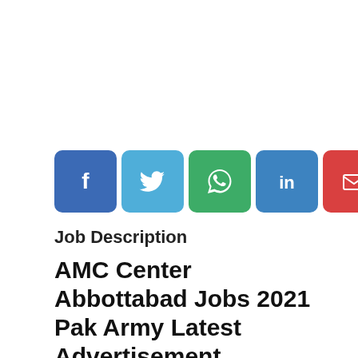[Figure (other): Row of 7 social media sharing buttons: Facebook (blue), Twitter (light blue), WhatsApp (green), LinkedIn (blue), Email (red), Link/Copy (purple), More/Plus (pink)]
Job Description
AMC Center Abbottabad Jobs 2021 Pak Army Latest Advertisement
Jobs in Army Medical Corps School Center and Record Wing Abbottabad are available and it has announced the following positions on different quotas